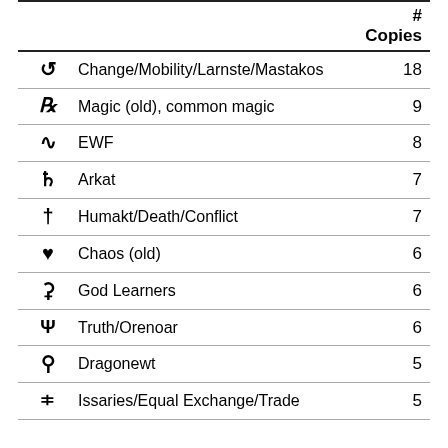| Symbol | Name | # Copies |
| --- | --- | --- |
| ♻ | Change/Mobility/Larnste/Mastakos | 18 |
| ℝ | Magic (old), common magic | 9 |
| ∿ | EWF | 8 |
| ⚔ | Arkat | 7 |
| † | Humakt/Death/Conflict | 7 |
| ♥ | Chaos (old) | 6 |
| △ | God Learners | 6 |
| Y | Truth/Orenoar | 6 |
| ⛛ | Dragonewt | 5 |
| ⊞ | Issaries/Equal Exchange/Trade | 5 |